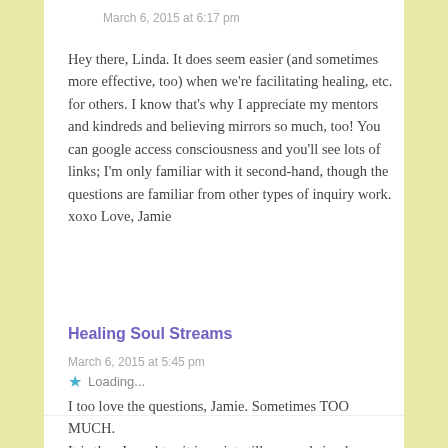March 6, 2015 at 6:17 pm
Hey there, Linda. It does seem easier (and sometimes more effective, too) when we're facilitating healing, etc. for others. I know that's why I appreciate my mentors and kindreds and believing mirrors so much, too! You can google access consciousness and you'll see lots of links; I'm only familiar with it second-hand, though the questions are familiar from other types of inquiry work. xoxo Love, Jamie
Loading...
Healing Soul Streams
March 6, 2015 at 5:45 pm
I too love the questions, Jamie. Sometimes TOO MUCH. It is then I need to sit in quiet stillness and simply KNOW.